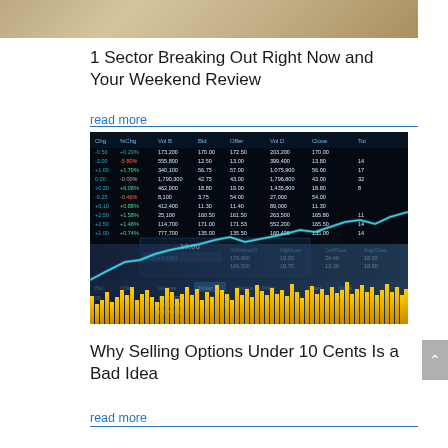[Figure (photo): Top portion of a photo showing papers/documents on a desk, cropped at top of page]
1 Sector Breaking Out Right Now and Your Weekend Review
read more
[Figure (screenshot): Stock market trading screen showing price data table with columns for Chg, %Chg, Vol B, Bid, Offer, Vol D, Close, and other fields. Overlaid with a glowing blue/yellow candlestick/volume chart with rising price line.]
Why Selling Options Under 10 Cents Is a Bad Idea
read more